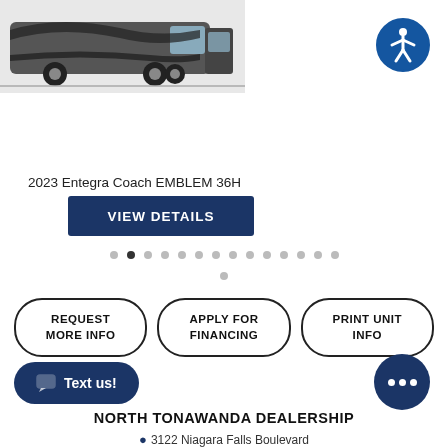[Figure (photo): RV motorhome image in black and white/grey tones, top-left of page]
[Figure (logo): Blue circular accessibility icon (person with arms/legs out) in top-right corner]
2023 Entegra Coach EMBLEM 36H
VIEW DETAILS
REQUEST MORE INFO
APPLY FOR FINANCING
PRINT UNIT INFO
Text us!
NORTH TONAWANDA DEALERSHIP
3122 Niagara Falls Boulevard